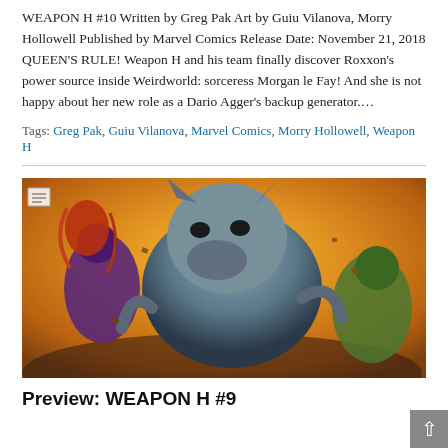WEAPON H #10 Written by Greg Pak Art by Guiu Vilanova, Morry Hollowell Published by Marvel Comics Release Date: November 21, 2018 QUEEN'S RULE! Weapon H and his team finally discover Roxxon's power source inside Weirdworld: sorceress Morgan le Fay! And she is not happy about her new role as a Dario Agger's backup generator.…
Tags: Greg Pak, Guiu Vilanova, Marvel Comics, Morry Hollowell, Weapon H
[Figure (illustration): Comic book cover art for Weapon H #9 showing action scene with characters fighting including a large wolf-like creature in the center, a purple-costumed character on the left with red hair, and a green figure on the right, set against a fiery orange-yellow background.]
Preview: WEAPON H #9